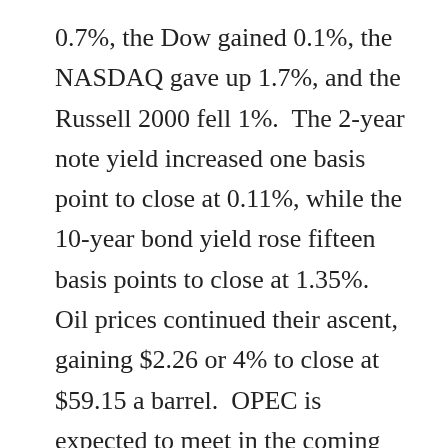0.7%, the Dow gained 0.1%, the NASDAQ gave up 1.7%, and the Russell 2000 fell 1%. The 2-year note yield increased one basis point to close at 0.11%, while the 10-year bond yield rose fifteen basis points to close at 1.35%. Oil prices continued their ascent, gaining $2.26 or 4% to close at $59.15 a barrel. OPEC is expected to meet in the coming week to discuss reducing some of the production cuts; however, initially, it appears the Russians and Saudis...